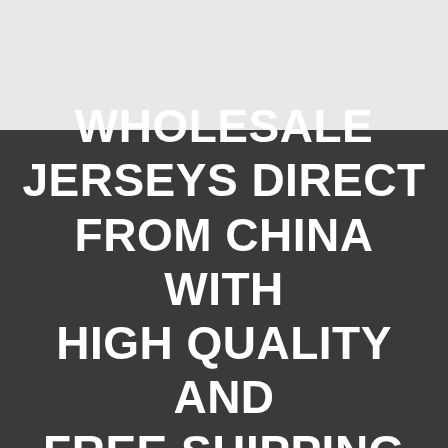[Figure (other): Light gray blank area at the top of the page]
WHOLESALE JERSEYS DIRECT FROM CHINA WITH HIGH QUALITY AND FREE SHIPPING